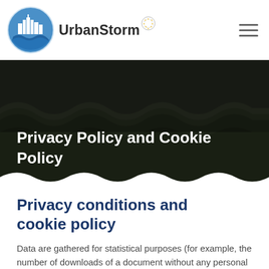UrbanStorm
[Figure (photo): Dark flooding water background image with wavy bottom edge, overlaid with white bold text: Privacy Policy and Cookie Policy]
Privacy Policy and Cookie Policy
Privacy conditions and cookie policy
Data are gathered for statistical purposes (for example, the number of downloads of a document without any personal data).